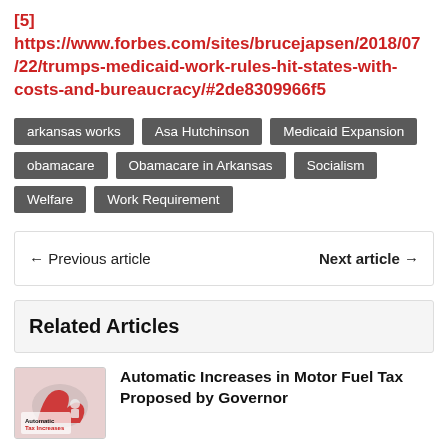[5] https://www.forbes.com/sites/brucejapsen/2018/07/22/trumps-medicaid-work-rules-hit-states-with-costs-and-bureaucracy/#2de8309966f5
arkansas works
Asa Hutchinson
Medicaid Expansion
obamacare
Obamacare in Arkansas
Socialism
Welfare
Work Requirement
← Previous article    Next article →
Related Articles
Automatic Increases in Motor Fuel Tax Proposed by Governor